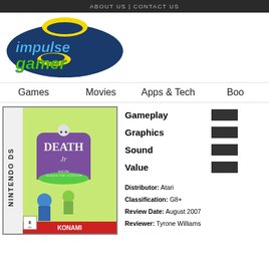ABOUT US | CONTACT US
[Figure (logo): Impulse Gamer logo with blue oval, yellow swoosh, blue text 'impulse' and green text 'gamer', Est.2001]
Games   Movies   Apps & Tech   Boo...
[Figure (photo): Nintendo DS game box for Death Jr. and the Science Fair of Doom, published by Konami]
| Category | Rating |
| --- | --- |
| Gameplay |  |
| Graphics |  |
| Sound |  |
| Value |  |
Distributor: Atari
Classification: G8+
Review Date: August 2007
Reviewer: Tyrone Williams